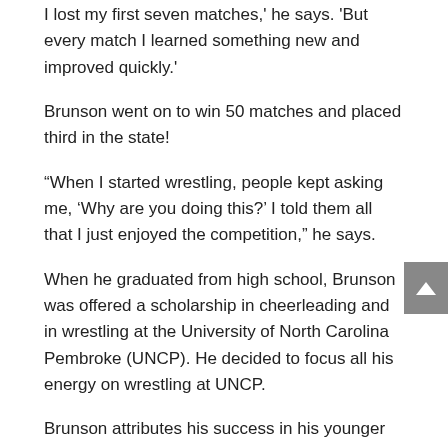I lost my first seven matches,' he says. 'But every match I learned something new and improved quickly.'
Brunson went on to win 50 matches and placed third in the state!
“When I started wrestling, people kept asking me, ‘Why are you doing this?’ I told them all that I just enjoyed the competition,” he says.
When he graduated from high school, Brunson was offered a scholarship in cheerleading and in wrestling at the University of North Carolina Pembroke (UNCP). He decided to focus all his energy on wrestling at UNCP.
Brunson attributes his success in his younger years to positive reinforcement.